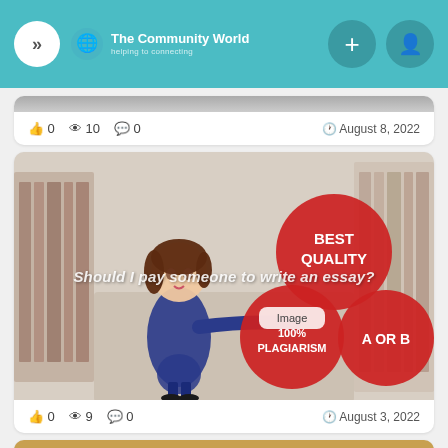The Community World
👍 0   👁 10   💬 0   August 8, 2022
[Figure (illustration): Cartoon woman in blue suit presenting next to red circles labeled BEST QUALITY, 100% PLAGIARISM, A OR B with overlay text: Should I pay someone to write an essay?]
👍 0   👁 9   💬 0   August 3, 2022
[Figure (illustration): Bottom card preview showing Assignments badge and Essay Writing Help In Canada text on tan/brown background]